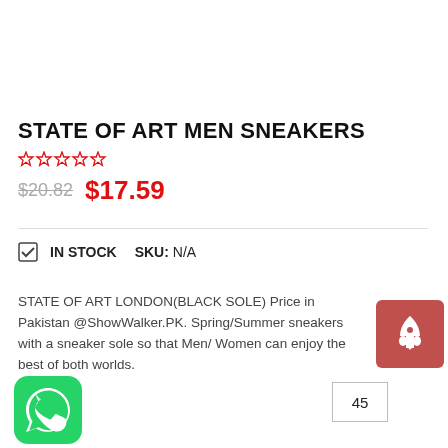STATE OF ART MEN SNEAKERS
☆☆☆☆☆ (star rating, empty)
$20.82  $17.59
✅ IN STOCK   SKU: N/A
STATE OF ART LONDON(BLACK SOLE) Price in Pakistan @ShowWalker.PK. Spring/Summer sneakers with a sneaker sole so that Men/ Women can enjoy the best of both worlds.
[Figure (other): Red/pink square button with a rocket/arrow up icon]
45
[Figure (logo): WhatsApp green rounded square logo icon]